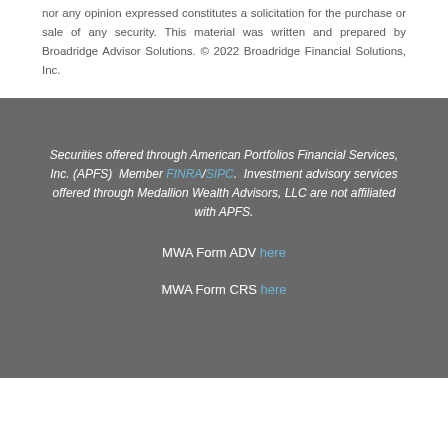nor any opinion expressed constitutes a solicitation for the purchase or sale of any security. This material was written and prepared by Broadridge Advisor Solutions. © 2022 Broadridge Financial Solutions, Inc.
Securities offered through American Portfolios Financial Services, Inc. (APFS) Member FINRA/SIPC. Investment advisory services offered through Medallion Wealth Advisors, LLC are not affiliated with APFS.
MWA Form ADV here
MWA Form CRS here